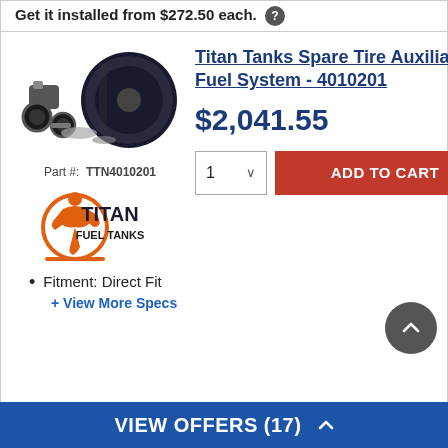Get it installed from $272.50 each.
Titan Tanks Spare Tire Auxiliary Fuel System - 4010201
[Figure (photo): Product photo of Titan Tanks Spare Tire Auxiliary Fuel System showing tank and mounting hardware components]
Part #: TTN4010201
[Figure (logo): Titan Fuel Tanks brand logo with orange graphic and black text]
$2,041.55
1  ADD TO CART
Fitment: Direct Fit
+ View More Specs
VIEW OFFERS (17)